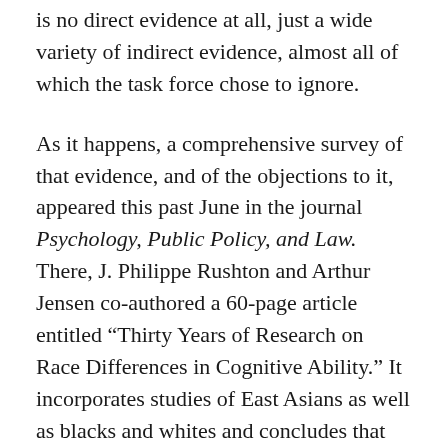is no direct evidence at all, just a wide variety of indirect evidence, almost all of which the task force chose to ignore.
As it happens, a comprehensive survey of that evidence, and of the objections to it, appeared this past June in the journal Psychology, Public Policy, and Law. There, J. Philippe Rushton and Arthur Jensen co-authored a 60-page article entitled “Thirty Years of Research on Race Differences in Cognitive Ability.” It incorporates studies of East Asians as well as blacks and whites and concludes that the source of the black-white-Asian difference is 50- to 80-percent genetic. The same issue of the journal includes four commentaries, three of them written by prominent scholars who